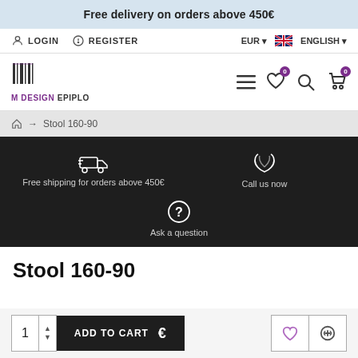Free delivery on orders above 450€
LOGIN   REGISTER   EUR   ENGLISH
[Figure (logo): M Design Epiplo logo with barcode-style M icon, purple text]
Stool 160-90 (breadcrumb navigation)
Free shipping for orders above 450€   Call us now   Ask a question
Stool 160-90
1  ADD TO CART  €